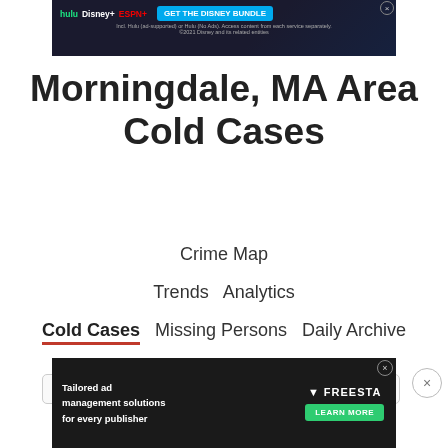[Figure (screenshot): Top banner advertisement for Disney Bundle featuring Hulu, Disney+, ESPN+ logos with 'GET THE DISNEY BUNDLE' call to action on dark background]
Morningdale, MA Area Cold Cases
Crime Map
Trends   Analytics
Cold Cases   Missing Persons   Daily Archive
[Figure (screenshot): Bottom banner advertisement for Freestar tailored ad management solutions for every publisher with Learn More button]